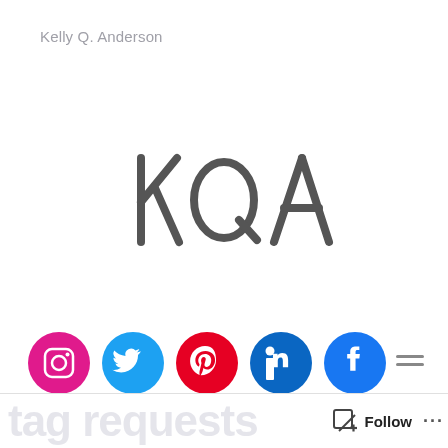Kelly Q. Anderson
[Figure (logo): KQA handwritten monogram logo in dark grey on white background]
[Figure (infographic): Row of social media icons: Instagram (pink/magenta circle), Twitter (blue circle), Pinterest (red circle), LinkedIn (dark blue circle), Facebook (blue circle)]
[Figure (other): Hamburger menu icon (three horizontal lines) on the right side]
Follow ...